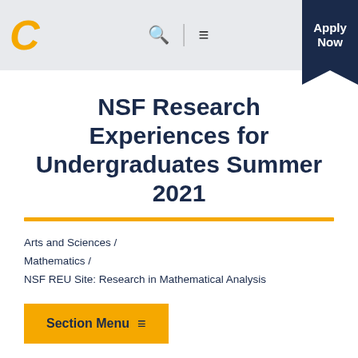C [logo] | Search | Menu | Apply Now
NSF Research Experiences for Undergraduates Summer 2021
Arts and Sciences / Mathematics / NSF REU Site: Research in Mathematical Analysis
Section Menu ≡
REU Site: Research Training for